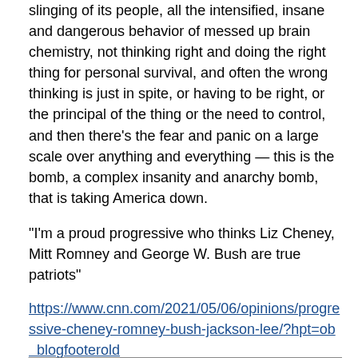slinging of its people, all the intensified, insane and dangerous behavior of messed up brain chemistry, not thinking right and doing the right thing for personal survival, and often the wrong thinking is just in spite, or having to be right, or the principal of the thing or the need to control, and then there's the fear and panic on a large scale over anything and everything — this is the bomb, a complex insanity and anarchy bomb, that is taking America down.
"I'm a proud progressive who thinks Liz Cheney, Mitt Romney and George W. Bush are true patriots"
https://www.cnn.com/2021/05/06/opinions/progressive-cheney-romney-bush-jackson-lee/?hpt=ob_blogfooterold
Previous Journal Entry (May 2, 2021)
Next Journal Entry (August 18, 2021)
Photo of Stone wall by Rich